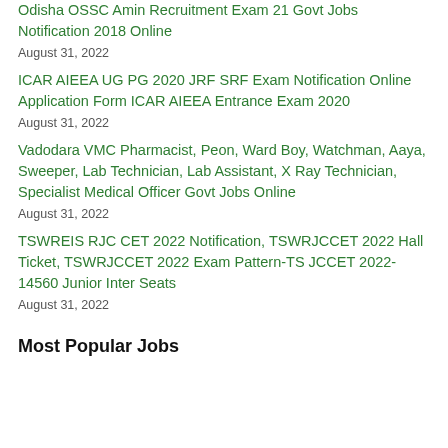Odisha OSSC Amin Recruitment Exam 21 Govt Jobs Notification 2018 Online
August 31, 2022
ICAR AIEEA UG PG 2020 JRF SRF Exam Notification Online Application Form ICAR AIEEA Entrance Exam 2020
August 31, 2022
Vadodara VMC Pharmacist, Peon, Ward Boy, Watchman, Aaya, Sweeper, Lab Technician, Lab Assistant, X Ray Technician, Specialist Medical Officer Govt Jobs Online
August 31, 2022
TSWREIS RJC CET 2022 Notification, TSWRJCCET 2022 Hall Ticket, TSWRJCCET 2022 Exam Pattern-TS JCCET 2022-14560 Junior Inter Seats
August 31, 2022
Most Popular Jobs